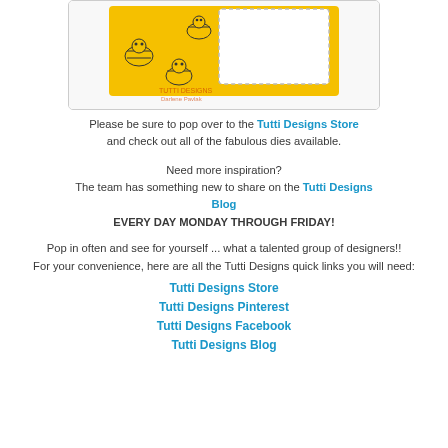[Figure (photo): Photo of a handmade card with a yellow bee-themed panel, showing cartoon bees, with a Tutti Designs watermark/logo overlay.]
Please be sure to pop over to the Tutti Designs Store and check out all of the fabulous dies available.
Need more inspiration?
The team has something new to share on the Tutti Designs Blog
EVERY DAY MONDAY THROUGH FRIDAY!
Pop in often and see for yourself ... what a talented group of designers!!
For your convenience, here are all the Tutti Designs quick links you will need:
Tutti Designs Store
Tutti Designs Pinterest
Tutti Designs Facebook
Tutti Designs Blog